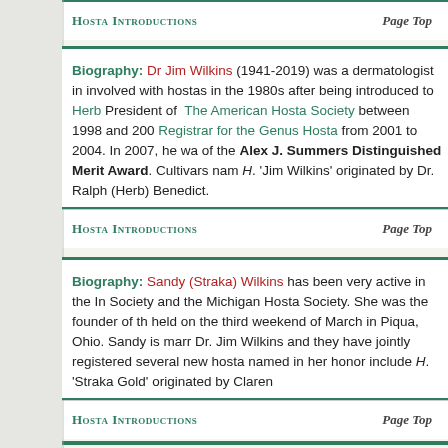Hosta Introductions    Page Top
Biography: Dr Jim Wilkins (1941-2019) was a dermatologist in involved with hostas in the 1980s after being introduced to Herb President of The American Hosta Society between 1998 and 200 Registrar for the Genus Hosta from 2001 to 2004. In 2007, he wa of the Alex J. Summers Distinguished Merit Award. Cultivars nam H. 'Jim Wilkins' originated by Dr. Ralph (Herb) Benedict.
Hosta Introductions    Page Top
Biography: Sandy (Straka) Wilkins has been very active in the In Society and the Michigan Hosta Society. She was the founder of th held on the third weekend of March in Piqua, Ohio. Sandy is marr Dr. Jim Wilkins and they have jointly registered several new hosta named in her honor include H. 'Straka Gold' originated by Claren
Hosta Introductions    Page Top